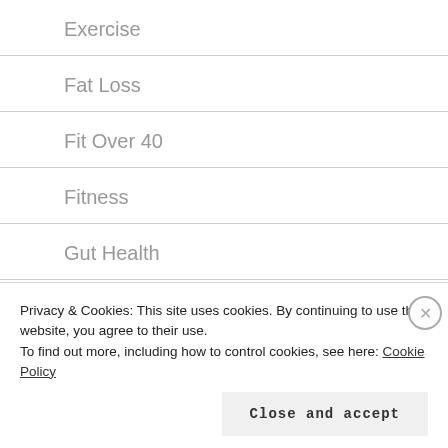Exercise
Fat Loss
Fit Over 40
Fitness
Gut Health
Habits
Health
Hormones
Privacy & Cookies: This site uses cookies. By continuing to use this website, you agree to their use.
To find out more, including how to control cookies, see here: Cookie Policy